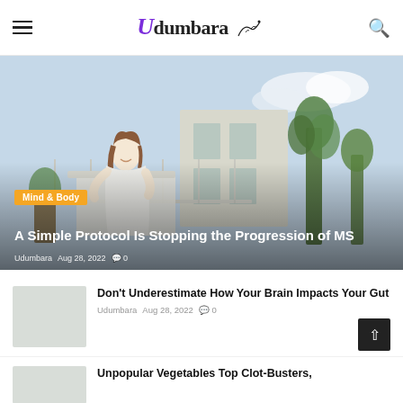Udumbara — navigation header with hamburger menu and search icon
[Figure (photo): Woman in white robe sitting on outdoor balcony/terrace with plants and building in background, smiling and relaxed]
Mind & Body
A Simple Protocol Is Stopping the Progression of MS
Udumbara  Aug 28, 2022  🗨 0
Don't Underestimate How Your Brain Impacts Your Gut
Udumbara  Aug 28, 2022  🗨 0
Unpopular Vegetables Top Clot-Busters,